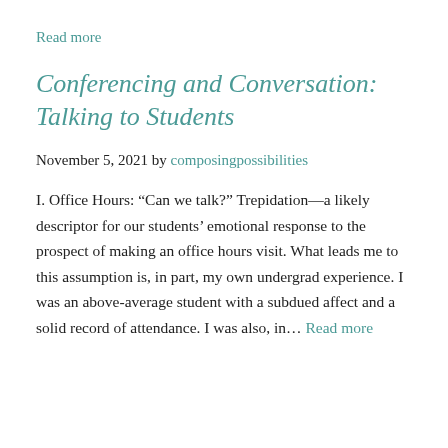Read more
Conferencing and Conversation: Talking to Students
November 5, 2021 by composingpossibilities
I. Office Hours: “Can we talk?” Trepidation—a likely descriptor for our students’ emotional response to the prospect of making an office hours visit. What leads me to this assumption is, in part, my own undergrad experience. I was an above-average student with a subdued affect and a solid record of attendance. I was also, in… Read more